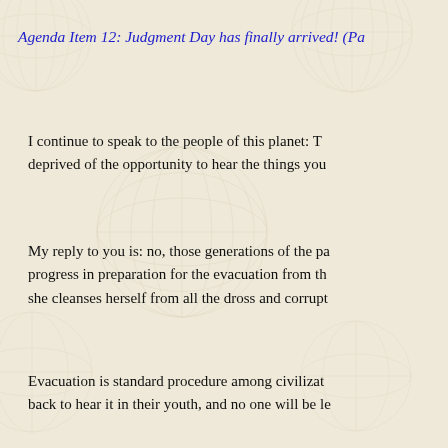Agenda Item 12: Judgment Day has finally arrived! (Pa
I continue to speak to the people of this planet: T deprived of the opportunity to hear the things you
My reply to you is: no, those generations of the pa progress in preparation for the evacuation from th she cleanses herself from all the dross and corrupt
Evacuation is standard procedure among civilizat back to hear it in their youth, and no one will be le